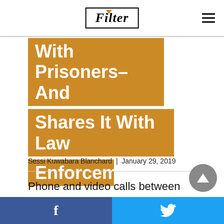Filter
With Prisoners–And Shares It With Law Enforcement
Sessi Kuwabara Blanchard  |  January 29, 2019
Phone and video calls between incarcerated people and those on the outside are never private. The content of